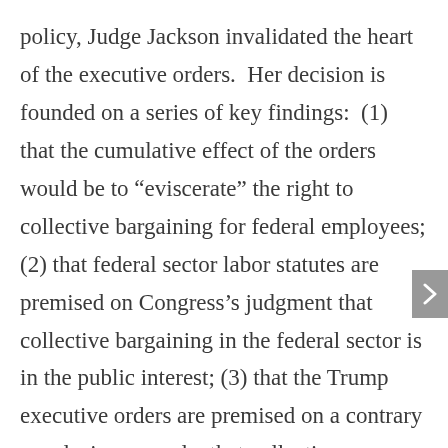policy, Judge Jackson invalidated the heart of the executive orders.  Her decision is founded on a series of key findings:  (1) that the cumulative effect of the orders would be to “eviscerate” the right to collective bargaining for federal employees; (2) that federal sector labor statutes are premised on Congress’s judgment that collective bargaining in the federal sector is in the public interest; (3) that the Trump executive orders are premised on a contrary conclusion; namely, that collective bargaining is an impediment to the efficient and effective running of the government; and (4) that the President lacks the authority to